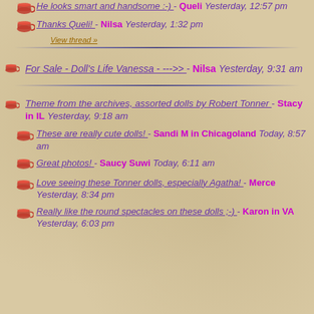He looks smart and handsome :-) - Queli Yesterday, 12:57 pm
Thanks Queli! - Nilsa Yesterday, 1:32 pm
View thread »
For Sale - Doll's Life Vanessa - --->> - Nilsa Yesterday, 9:31 am
Theme from the archives, assorted dolls by Robert Tonner - Stacy in IL Yesterday, 9:18 am
These are really cute dolls! - Sandi M in Chicagoland Today, 8:57 am
Great photos! - Saucy Suwi Today, 6:11 am
Love seeing these Tonner dolls, especially Agatha! - Merce Yesterday, 8:34 pm
Really like the round spectacles on these dolls ;-) - Karon in VA Yesterday, 6:03 pm